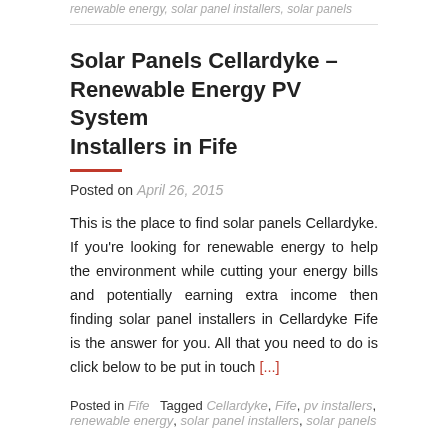renewable energy, solar panel installers, solar panels
Solar Panels Cellardyke – Renewable Energy PV System Installers in Fife
Posted on April 26, 2015
This is the place to find solar panels Cellardyke. If you're looking for renewable energy to help the environment while cutting your energy bills and potentially earning extra income then finding solar panel installers in Cellardyke Fife is the answer for you. All that you need to do is click below to be put in touch [...]
Posted in Fife   Tagged Cellardyke, Fife, pv installers, renewable energy, solar panel installers, solar panels
Solar Panels Backmuir of New